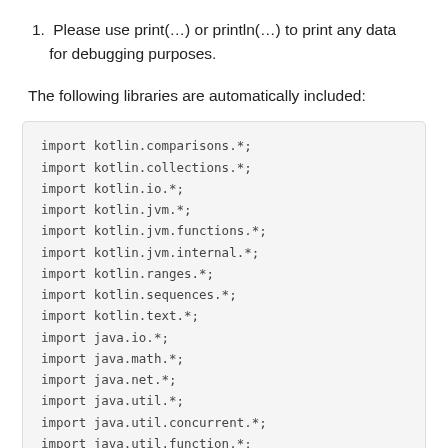Please use print(…) or println(…) to print any data for debugging purposes.
The following libraries are automatically included:
[Figure (other): Code block showing import statements: import kotlin.comparisons.*; import kotlin.collections.*; import kotlin.io.*; import kotlin.jvm.*; import kotlin.jvm.functions.*; import kotlin.jvm.internal.*; import kotlin.ranges.*; import kotlin.sequences.*; import kotlin.text.*; import java.io.*; import java.math.*; import java.net.*; import java.util.*; import java.util.concurrent.*; import java.util.function.*; import java.util.regex.*; import java.util.stream.*; import java.text.*;]